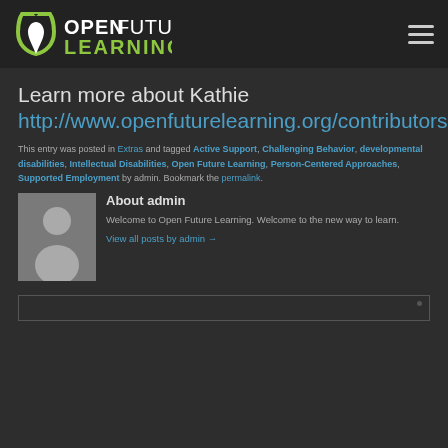Open Future Learning
Learn more about Kathie http://www.openfuturelearning.org/contributors.html#ksnow
This entry was posted in Extras and tagged Active Support, Challenging Behavior, developmental disabilities, Intellectual Disabilities, Open Future Learning, Person-Centered Approaches, Supported Employment by admin. Bookmark the permalink.
About admin
[Figure (photo): Silhouette avatar icon of a person on grey background]
Welcome to Open Future Learning. Welcome to the new way to learn.
View all posts by admin →